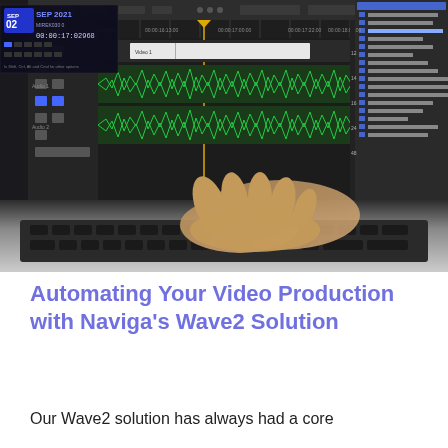[Figure (screenshot): Screenshot of a video editing software (appears to be Adobe Premiere or similar) showing a timeline with audio waveforms, video tracks, and an effects panel on the right with a list of audio effects. A hand is visible typing on a laptop keyboard in the foreground, partially obscuring the bottom of the screen.]
Automating Your Video Production with Naviga’s Wave2 Solution
Our Wave2 solution has always had a core